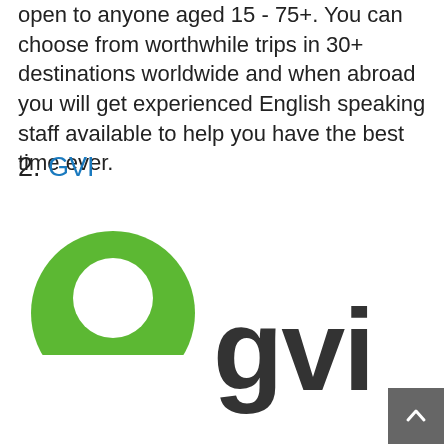open to anyone aged 15 - 75+. You can choose from worthwhile trips in 30+ destinations worldwide and when abroad you will get experienced English speaking staff available to help you have the best time ever.
2. GVI
[Figure (logo): GVI logo consisting of a green person/location pin icon on the left and the text 'gvi' in dark gray on the right]